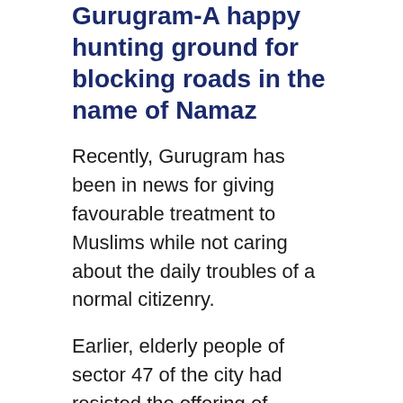Gurugram-A happy hunting ground for blocking roads in the name of Namaz
Recently, Gurugram has been in news for giving favourable treatment to Muslims while not caring about the daily troubles of a normal citizenry.
Earlier, elderly people of sector 47 of the city had resisted the offering of Namaz at the designated site. According to them, the site was designated for a temporary period, but it was slowly gaining permanency. Various groups had held protests against the seizure of roads by the